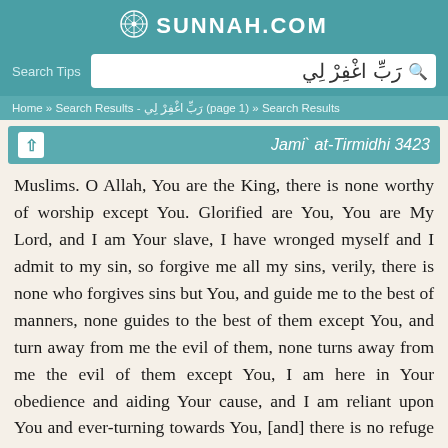SUNNAH.COM
Search Tips  رَبِّ اغْفِرْ لِي
Home » Search Results - رَبِّ اغْفِرْ لِي (page 1) » Search Results
Jami` at-Tirmidhi 3423
Muslims. O Allah, You are the King, there is none worthy of worship except You. Glorified are You, You are My Lord, and I am Your slave, I have wronged myself and I admit to my sin, so forgive me all my sins, verily, there is none who forgives sins but You, and guide me to the best of manners, none guides to the best of them except You, and turn away from me the evil of them, none turns away from me the evil of them except You, I am here in Your obedience and aiding Your cause, and I am reliant upon You and ever-turning towards You, [and] there is no refuge from You nor hiding place from You except (going) to You, I seek Your forgiveness, and I repent to you (Wajjahtu wajhiya lilladhī faṭaras-samāwāti wal-arḍa ḥanīfan wa mā ana min al-mushrikīn, inna ṣalātī wa